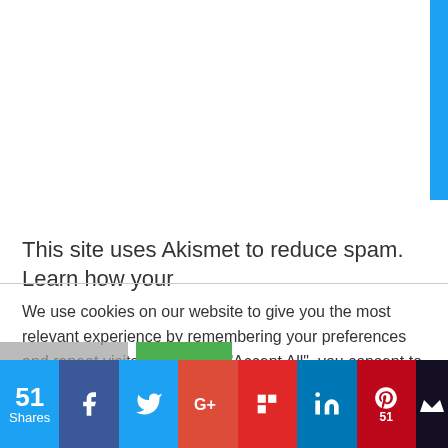[Figure (other): Blue sidebar strip on the right edge of the page]
This site uses Akismet to reduce spam. Learn how your
We use cookies on our website to give you the most relevant experience by remembering your preferences and repeat visits. By clicking "Accept All", you consent to the use of ALL the cookies. However, you may visit "Cookie Settings" to provide a controlled consent.
[Figure (other): Social share bar at the bottom showing 51 Shares, with Facebook, Twitter, Google+, Flipboard, LinkedIn, Pinterest (51), and MeWe icon buttons]